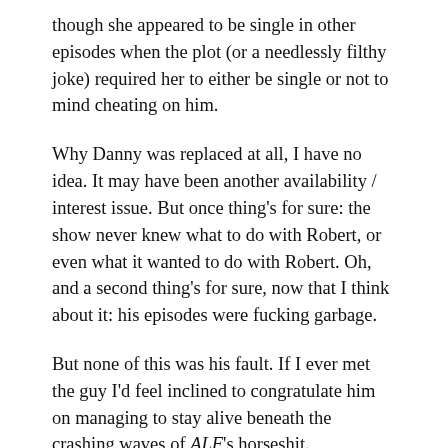though she appeared to be single in other episodes when the plot (or a needlessly filthy joke) required her to either be single or not to mind cheating on him.
Why Danny was replaced at all, I have no idea. It may have been another availability / interest issue. But once thing's for sure: the show never knew what to do with Robert, or even what it wanted to do with Robert. Oh, and a second thing's for sure, now that I think about it: his episodes were fucking garbage.
But none of this was his fault. If I ever met the guy I'd feel inclined to congratulate him on managing to stay alive beneath the crashing waves of ALF's horseshit.
So Robert was worthless and confusing, but not